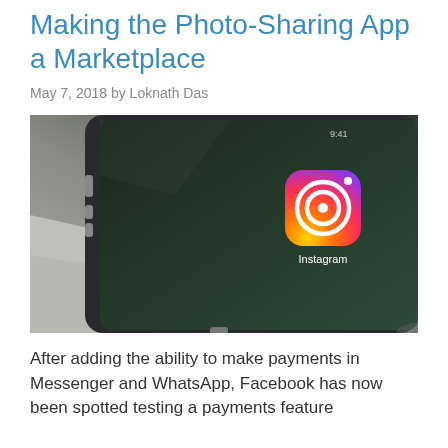Making the Photo-Sharing App a Marketplace
May 7, 2018 by Loknath Das
[Figure (photo): Close-up photo of an iPhone lying on a gray surface showing the Instagram app icon on a dark green wallpaper home screen]
After adding the ability to make payments in Messenger and WhatsApp, Facebook has now been spotted testing a payments feature